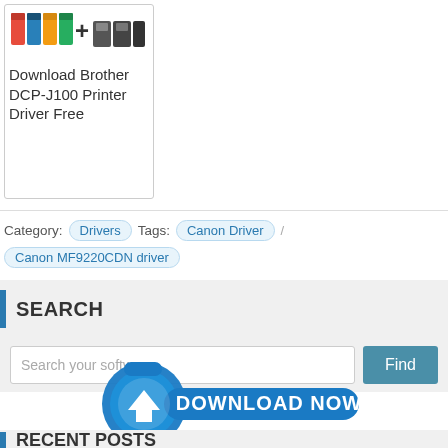[Figure (screenshot): Card showing a Brother DCP-J100 printer ink bottle image with a plus sign and ink cartridges]
Download Brother DCP-J100 Printer Driver Free
Category: Drivers Tags: Canon Driver / Canon MF9220CDN driver
SEARCH
Search your software...
[Figure (illustration): Blue DOWNLOAD NOW button with down arrow icon and NinjaDownload.com watermark]
RECENT POSTS